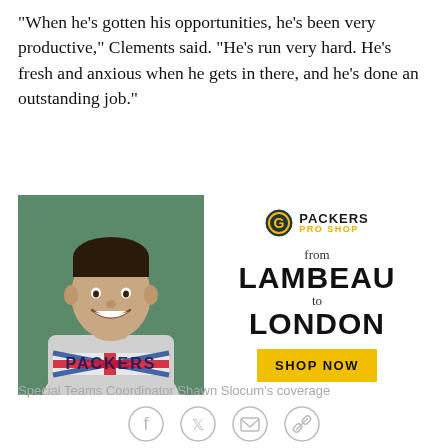"When he's gotten his opportunities, he's been very productive," Clements said. "He's run very hard. He's fresh and anxious when he gets in there, and he's done an outstanding job."
[Figure (photo): Advertisement featuring a smiling young man wearing a gray Packers sweatshirt with Union Jack design. Beside the photo is a Packers Pro Shop logo, text reading 'from LAMBEAU to LONDON', and a yellow 'SHOP NOW' button.]
Special Teams Coordinator Shawn Slocum's coverage
[Figure (other): Social media sharing icons: Facebook, Twitter, email/envelope, and link/chain icons in circular outlines.]